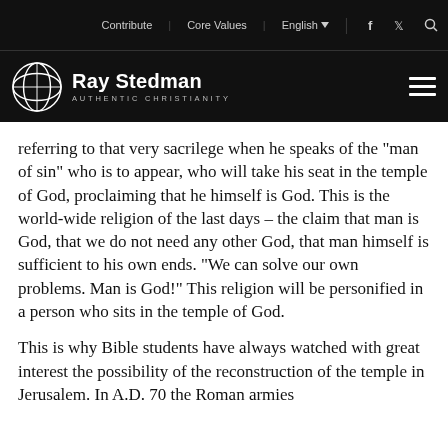Contribute | Core Values | English | [facebook] [twitter] [search]
Ray Stedman — AUTHENTIC CHRISTIANITY
referring to that very sacrilege when he speaks of the "man of sin" who is to appear, who will take his seat in the temple of God, proclaiming that he himself is God. This is the world-wide religion of the last days – the claim that man is God, that we do not need any other God, that man himself is sufficient to his own ends. "We can solve our own problems. Man is God!" This religion will be personified in a person who sits in the temple of God.
This is why Bible students have always watched with great interest the possibility of the reconstruction of the temple in Jerusalem. In A.D. 70 the Roman armies